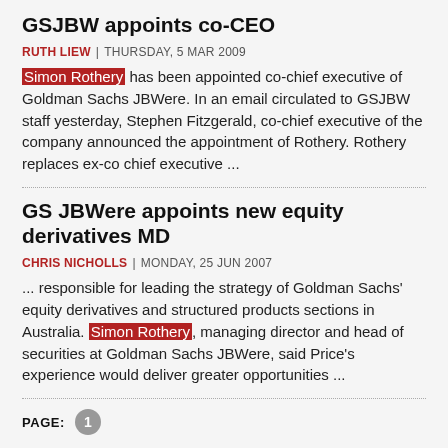GSJBW appoints co-CEO
RUTH LIEW | THURSDAY, 5 MAR 2009
Simon Rothery has been appointed co-chief executive of Goldman Sachs JBWere. In an email circulated to GSJBW staff yesterday, Stephen Fitzgerald, co-chief executive of the company announced the appointment of Rothery. Rothery replaces ex-co chief executive ...
GS JBWere appoints new equity derivatives MD
CHRIS NICHOLLS | MONDAY, 25 JUN 2007
... responsible for leading the strategy of Goldman Sachs' equity derivatives and structured products sections in Australia. Simon Rothery, managing director and head of securities at Goldman Sachs JBWere, said Price's experience would deliver greater opportunities ...
PAGE: 1